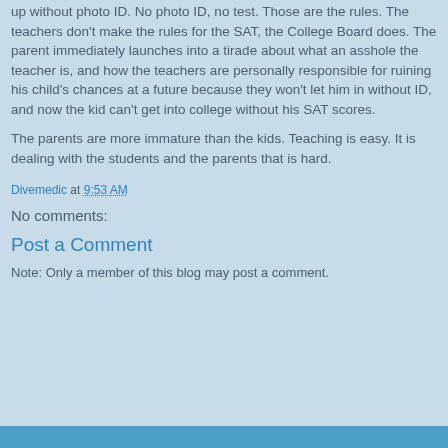up without photo ID. No photo ID, no test. Those are the rules. The teachers don't make the rules for the SAT, the College Board does. The parent immediately launches into a tirade about what an asshole the teacher is, and how the teachers are personally responsible for ruining his child's chances at a future because they won't let him in without ID, and now the kid can't get into college without his SAT scores.
The parents are more immature than the kids. Teaching is easy. It is dealing with the students and the parents that is hard.
Divemedic at 9:53 AM
No comments:
Post a Comment
Note: Only a member of this blog may post a comment.